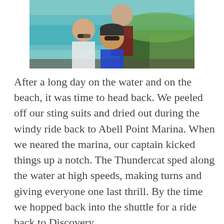[Figure (photo): Three people posing outdoors on a scenic overlook with turquoise water and green vegetation in the background. A girl with sunglasses on the left, a boy in a blue shirt in front center wearing sunglasses and a cap, and a taller person partially visible behind them.]
After a long day on the water and on the beach, it was time to head back. We peeled off our sting suits and dried out during the windy ride back to Abell Point Marina. When we neared the marina, our captain kicked things up a notch. The Thundercat sped along the water at high speeds, making turns and giving everyone one last thrill. By the time we hopped back into the shuttle for a ride back to Discovery